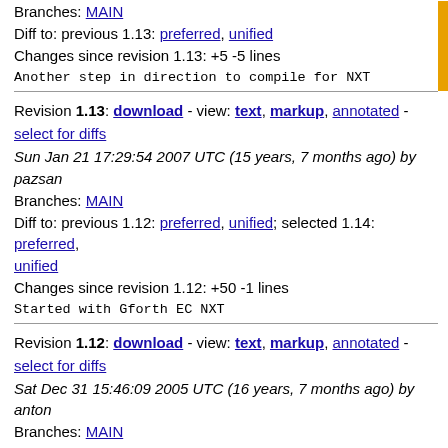Branches: MAIN
Diff to: previous 1.13: preferred, unified
Changes since revision 1.13: +5 -5 lines
Another step in direction to compile for NXT
Revision 1.13: download - view: text, markup, annotated - select for diffs
Sun Jan 21 17:29:54 2007 UTC (15 years, 7 months ago) by pazsan
Branches: MAIN
Diff to: previous 1.12: preferred, unified; selected 1.14: preferred, unified
Changes since revision 1.12: +50 -1 lines
Started with Gforth EC NXT
Revision 1.12: download - view: text, markup, annotated - select for diffs
Sat Dec 31 15:46:09 2005 UTC (16 years, 7 months ago) by anton
Branches: MAIN
Diff to: previous 1.11: preferred, unified; selected 1.14: preferred, unified
Changes since revision 1.11: +1 -1 lines
updated the copyright year on many files
added FSF copyright header to compile-fc.fft, fc-nxcomp